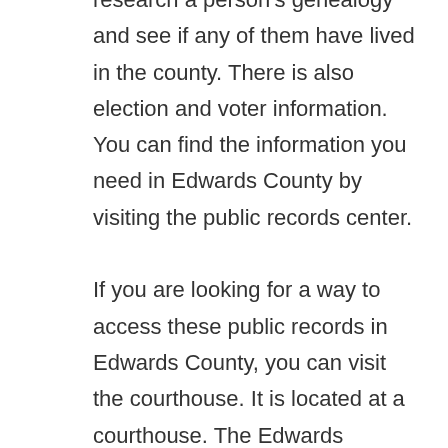research a person's genealogy and see if any of them have lived in the county. There is also election and voter information. You can find the information you need in Edwards County by visiting the public records center.

If you are looking for a way to access these public records in Edwards County, you can visit the courthouse. It is located at a courthouse. The Edwards County Courthouse is the main repository for statewide details. This information can include birth certificates, marriage licenses, and